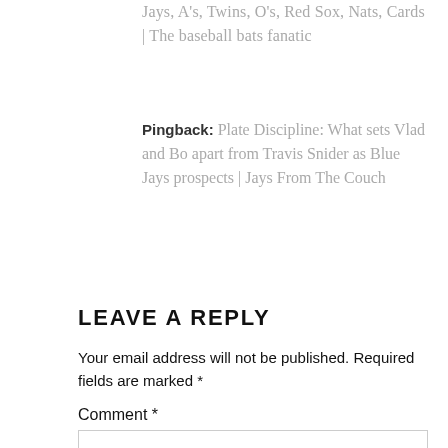Jays, A's, Twins, O's, Red Sox, Nats, Cards | The baseball bats fanatic
Pingback: Plate Discipline: What sets Vlad and Bo apart from Travis Snider as Blue Jays prospects | Jays From The Couch
LEAVE A REPLY
Your email address will not be published. Required fields are marked *
Comment *